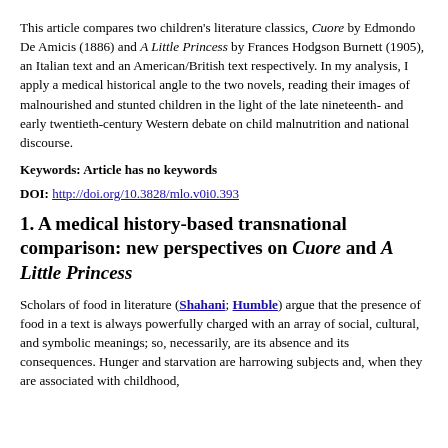This article compares two children's literature classics, Cuore by Edmondo De Amicis (1886) and A Little Princess by Frances Hodgson Burnett (1905), an Italian text and an American/British text respectively. In my analysis, I apply a medical historical angle to the two novels, reading their images of malnourished and stunted children in the light of the late nineteenth- and early twentieth-century Western debate on child malnutrition and national discourse.
Keywords: Article has no keywords
DOI: http://doi.org/10.3828/mlo.v0i0.393
1. A medical history-based transnational comparison: new perspectives on Cuore and A Little Princess
Scholars of food in literature (Shahani; Humble) argue that the presence of food in a text is always powerfully charged with an array of social, cultural, and symbolic meanings; so, necessarily, are its absence and its consequences. Hunger and starvation are harrowing subjects and, when they are associated with childhood,